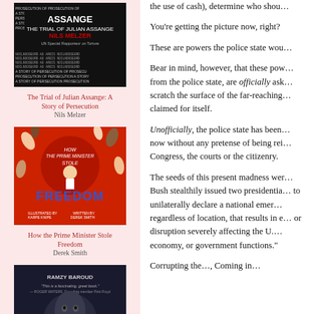[Figure (illustration): Book cover: The Trial of Julian Assange: A Story of Persecution by Nils Melzer]
The Trial of Julian Assange: A Story of Persecution
Nils Melzer
[Figure (illustration): Book cover: How the Prime Minister Stole Freedom by Derek Smith, illustrated by Karpe Knipe]
How the Prime Minister Stole Freedom
Derek Smith
[Figure (illustration): Book cover: partial view of a dark book cover by Ramzy Baroud]
the use of cash), determine who shou…
You're getting the picture now, right?
These are powers the police state wou…
Bear in mind, however, that these pow… from the police state, are officially ask… scratch the surface of the far-reaching … claimed for itself.
Unofficially, the police state has been … now without any pretense of being rei… Congress, the courts or the citizenry.
The seeds of this present madness wer… Bush stealthily issued two presidentia… to unilaterally declare a national emer… regardless of location, that results in e… or disruption severely affecting the U.… economy, or government functions."
Corrupting the…, Coming in…